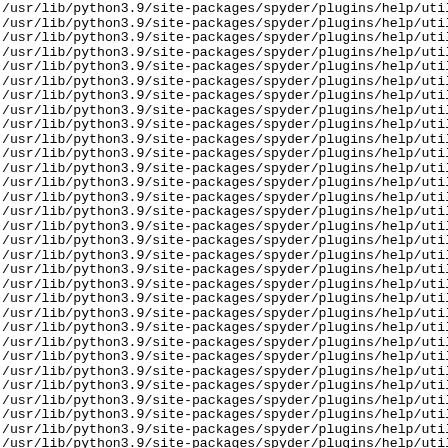/usr/lib/python3.9/site-packages/spyder/plugins/help/util
/usr/lib/python3.9/site-packages/spyder/plugins/help/util
/usr/lib/python3.9/site-packages/spyder/plugins/help/util
/usr/lib/python3.9/site-packages/spyder/plugins/help/util
/usr/lib/python3.9/site-packages/spyder/plugins/help/util
/usr/lib/python3.9/site-packages/spyder/plugins/help/util
/usr/lib/python3.9/site-packages/spyder/plugins/help/util
/usr/lib/python3.9/site-packages/spyder/plugins/help/util
/usr/lib/python3.9/site-packages/spyder/plugins/help/util
/usr/lib/python3.9/site-packages/spyder/plugins/help/util
/usr/lib/python3.9/site-packages/spyder/plugins/help/util
/usr/lib/python3.9/site-packages/spyder/plugins/help/util
/usr/lib/python3.9/site-packages/spyder/plugins/help/util
/usr/lib/python3.9/site-packages/spyder/plugins/help/util
/usr/lib/python3.9/site-packages/spyder/plugins/help/util
/usr/lib/python3.9/site-packages/spyder/plugins/help/util
/usr/lib/python3.9/site-packages/spyder/plugins/help/util
/usr/lib/python3.9/site-packages/spyder/plugins/help/util
/usr/lib/python3.9/site-packages/spyder/plugins/help/util
/usr/lib/python3.9/site-packages/spyder/plugins/help/util
/usr/lib/python3.9/site-packages/spyder/plugins/help/util
/usr/lib/python3.9/site-packages/spyder/plugins/help/util
/usr/lib/python3.9/site-packages/spyder/plugins/help/util
/usr/lib/python3.9/site-packages/spyder/plugins/help/util
/usr/lib/python3.9/site-packages/spyder/plugins/help/util
/usr/lib/python3.9/site-packages/spyder/plugins/help/util
/usr/lib/python3.9/site-packages/spyder/plugins/help/util
/usr/lib/python3.9/site-packages/spyder/plugins/help/util
/usr/lib/python3.9/site-packages/spyder/plugins/help/util
/usr/lib/python3.9/site-packages/spyder/plugins/help/util
/usr/lib/python3.9/site-packages/spyder/plugins/help/util